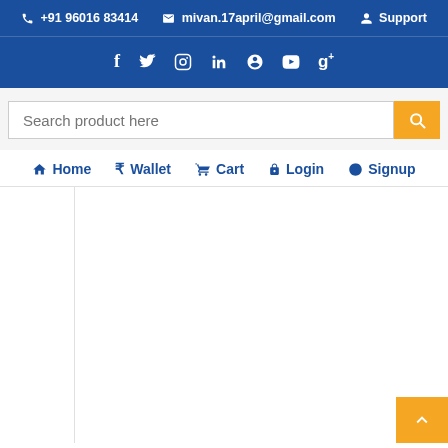📞 +91 96016 83414   ✉ mivan.17april@gmail.com   👤 Support
f  Twitter  Instagram  in  Pinterest  YouTube  g+
Search product here
Home   Wallet   Cart   Login   Signup